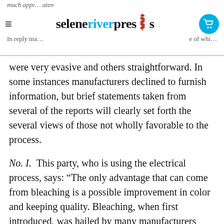seleneriverpress
were very evasive and others straightforward. In some instances manufacturers declined to furnish information, but brief statements taken from several of the reports will clearly set forth the several views of those not wholly favorable to the process.
No. I. This party, who is using the electrical process, says: “The only advantage that can come from bleaching is a possible improvement in color and keeping quality. Bleaching, when first introduced, was hailed by many manufacturers with more enthusiasm than judgment, and an attempt [was] made to produce high patent flours out of straight goods, thus producing a bad mess at the very start. Those